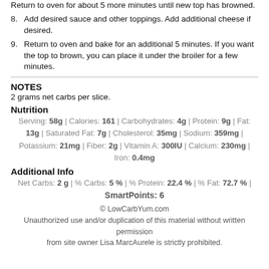Return to oven for about 5 more minutes until new top has browned.
8. Add desired sauce and other toppings. Add additional cheese if desired.
9. Return to oven and bake for an additional 5 minutes. If you want the top to brown, you can place it under the broiler for a few minutes.
NOTES
2 grams net carbs per slice.
Nutrition
Serving: 58g | Calories: 161 | Carbohydrates: 4g | Protein: 9g | Fat: 13g | Saturated Fat: 7g | Cholesterol: 35mg | Sodium: 359mg | Potassium: 21mg | Fiber: 2g | Vitamin A: 300IU | Calcium: 230mg | Iron: 0.4mg
Additional Info
Net Carbs: 2 g | % Carbs: 5 % | % Protein: 22.4 % | % Fat: 72.7 % | SmartPoints: 6
© LowCarbYum.com
Unauthorized use and/or duplication of this material without written permission from site owner Lisa MarcAurele is strictly prohibited.